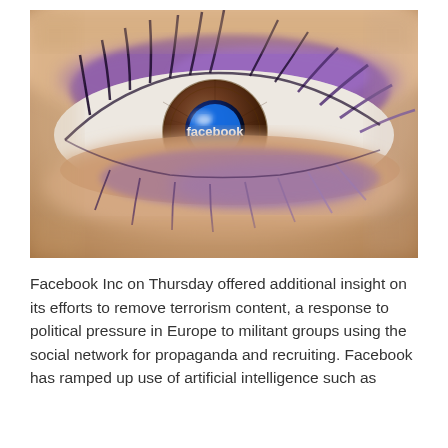[Figure (photo): Close-up macro photo of a human eye with purple/blue eye shadow and mascara. The Facebook logo is reflected in the pupil of the eye.]
Facebook Inc on Thursday offered additional insight on its efforts to remove terrorism content, a response to political pressure in Europe to militant groups using the social network for propaganda and recruiting. Facebook has ramped up use of artificial intelligence such as